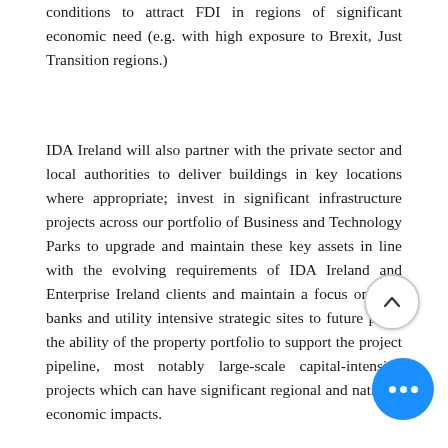conditions to attract FDI in regions of significant economic need (e.g. with high exposure to Brexit, Just Transition regions.)
IDA Ireland will also partner with the private sector and local authorities to deliver buildings in key locations where appropriate; invest in significant infrastructure projects across our portfolio of Business and Technology Parks to upgrade and maintain these key assets in line with the evolving requirements of IDA Ireland and Enterprise Ireland clients and maintain a focus on land banks and utility intensive strategic sites to future proof the ability of the property portfolio to support the project pipeline, most notably large-scale capital-intensive projects which can have significant regional and national economic impacts.